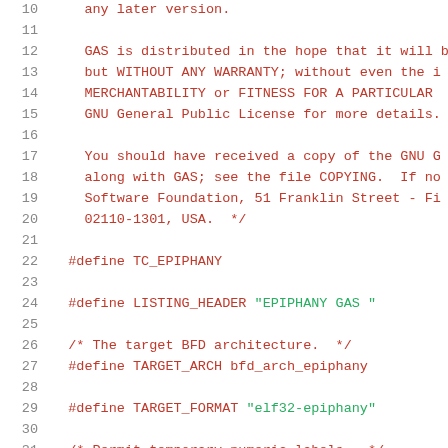Source code listing lines 10-31, C preprocessor header file for Epiphany GAS assembler target
10    any later version.
11    (blank)
12        GAS is distributed in the hope that it will b
13        but WITHOUT ANY WARRANTY; without even the i
14        MERCHANTABILITY or FITNESS FOR A PARTICULAR
15        GNU General Public License for more details.
16    (blank)
17        You should have received a copy of the GNU G
18        along with GAS; see the file COPYING.  If no
19        Software Foundation, 51 Franklin Street - Fi
20        02110-1301, USA.  */
21    (blank)
22    #define TC_EPIPHANY
23    (blank)
24    #define LISTING_HEADER "EPIPHANY GAS "
25    (blank)
26    /* The target BFD architecture.  */
27    #define TARGET_ARCH bfd_arch_epiphany
28    (blank)
29    #define TARGET_FORMAT "elf32-epiphany"
30    (blank)
31    /* Permit temporary numeric labels.  */